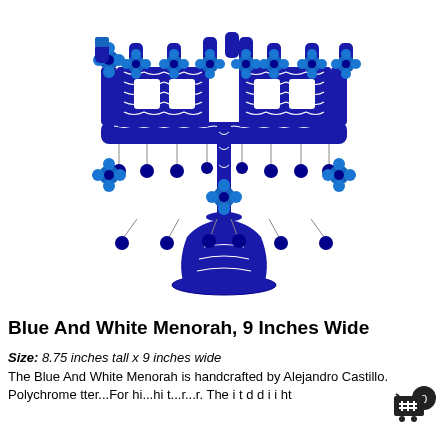[Figure (photo): A blue and white decorative Menorah with intricate floral and scroll patterns. The menorah has 9 candle holders at the top, decorated with blue flowers. The body features elaborate blue and white painted designs with hanging blue circular pendants. It sits on a decorative pedestal base.]
Blue And White Menorah, 9 Inches Wide
Size:  8.75 inches tall x 9 inches wide
The Blue And White Menorah is handcrafted by Alejandro Castillo. Poly chrome tter...For hi...hi t...r...r. The i t d d i i ht